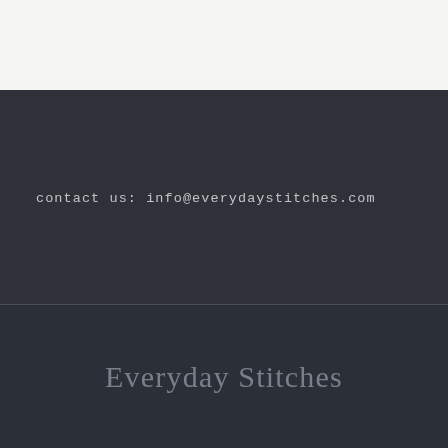contact us: info@everydaystitches.com
Everyday Stitches